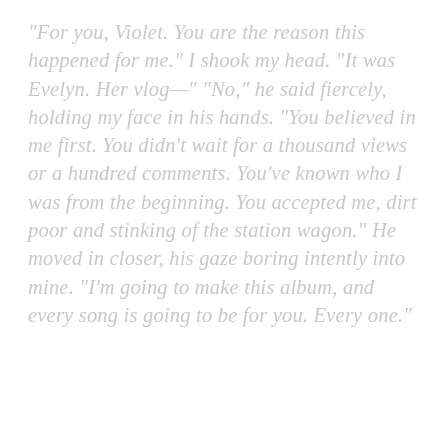"For you, Violet. You are the reason this happened for me." I shook my head. "It was Evelyn. Her vlog—" "No," he said fiercely, holding my face in his hands. "You believed in me first. You didn't wait for a thousand views or a hundred comments. You've known who I was from the beginning. You accepted me, dirt poor and stinking of the station wagon." He moved in closer, his gaze boring intently into mine. "I'm going to make this album, and every song is going to be for you. Every one."